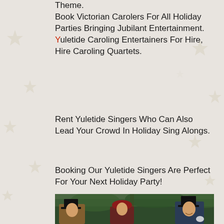Theme: Book Victorian Carolers For All Holiday Parties Bringing Jubilant Entertainment. Yuletide Caroling Entertainers For Hire, Hire Caroling Quartets.
Rent Yuletide Singers Who Can Also Lead Your Crowd In Holiday Sing Alongs.
Booking Our Yuletide Singers Are Perfect For Your Next Holiday Party!
[Figure (photo): Victorian carolers in top hats and period costumes standing outdoors in front of trees]